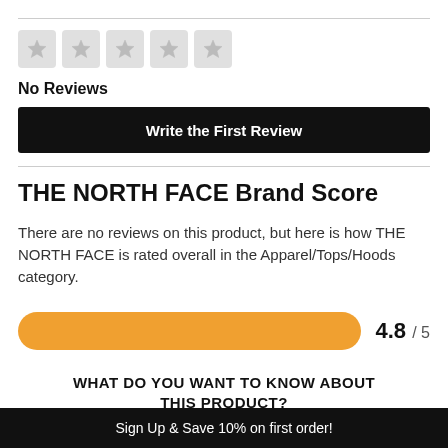[Figure (other): Five empty star rating boxes in light gray]
No Reviews
Write the First Review
THE NORTH FACE Brand Score
There are no reviews on this product, but here is how THE NORTH FACE is rated overall in the Apparel/Tops/Hoods category.
[Figure (infographic): Orange progress bar showing brand score rating]
WHAT DO YOU WANT TO KNOW ABOUT THIS PRODUCT?
Sign Up & Save 10% on first order!